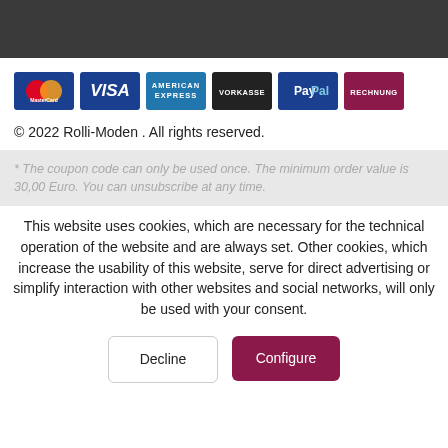[Figure (infographic): Dark header bar at top of page (navigation/header area)]
[Figure (infographic): Row of payment method icons: Mastercard, VISA, American Express, VORKASSE, PayPal, RECHNUNG]
© 2022 Rolli-Moden . All rights reserved.
* The coupon code can only be used once. The minimum order value is 30,00 Euro. You can unsubscribe at any time.
This website uses cookies, which are necessary for the technical operation of the website and are always set. Other cookies, which increase the usability of this website, serve for direct advertising or simplify interaction with other websites and social networks, will only be used with your consent.
Decline  Configure